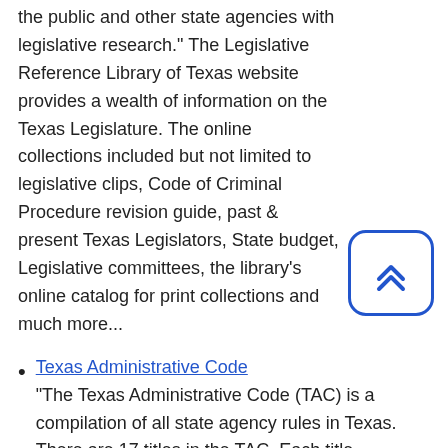the public and other state agencies with legislative research." The Legislative Reference Library of Texas website provides a wealth of information on the Texas Legislature. The online collections included but not limited to legislative clips, Code of Criminal Procedure revision guide, past & present Texas Legislators, State budget, Legislative committees, the library's online catalog for print collections and much more...
Texas Administrative Code
"The Texas Administrative Code (TAC) is a compilation of all state agency rules in Texas. There are 17 titles in the TAC. Each title represents a subject category and related agencies are assigned to the appropriate title." -- From the Texas Administrative Code home page.